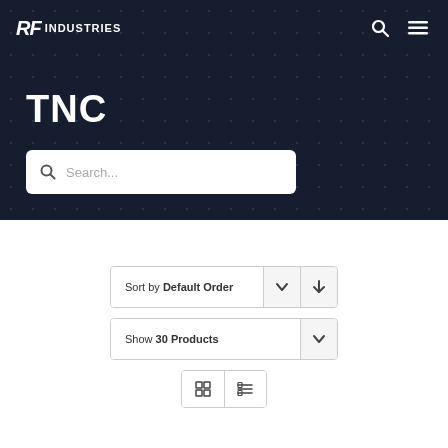[Figure (logo): RF Industries logo with stylized RF letters and INDUSTRIES text, white on dark navy background]
TNC
[Figure (screenshot): Search input box with magnifying glass icon and placeholder text 'Search...']
Sort by Default Order
Show 30 Products
[Figure (other): View toggle buttons: grid view and list view icons]